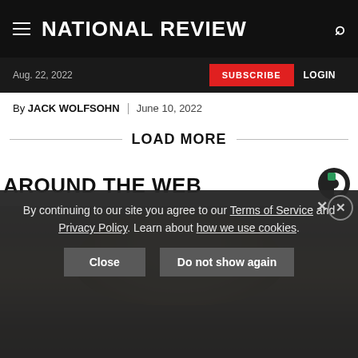NATIONAL REVIEW
Aug. 22, 2022  SUBSCRIBE  LOGIN
By JACK WOLFSOHN | June 10, 2022
LOAD MORE
AROUND THE WEB
[Figure (photo): Top of a person's head with blonde hair, photographed from slightly above against a light background]
By continuing to our site you agree to our Terms of Service and Privacy Policy. Learn about how we use cookies.